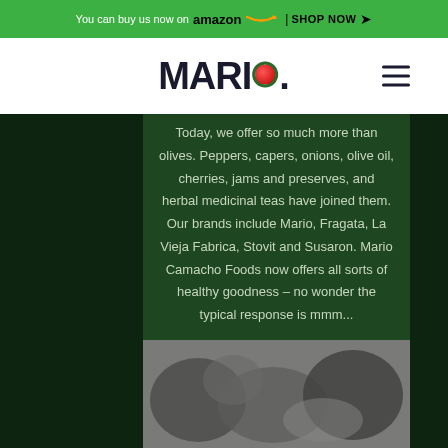You can buy us now on amazon | SHOP NOW
[Figure (logo): Mario brand logo with red dot replacing the letter O, with period after]
Today, we offer so much more than olives. Peppers, capers, onions, olive oil, cherries, jams and preserves, and herbal medicinal teas have joined them. Our brands include Mario, Fragata, La Vieja Fabrica, Stovit and Susaron. Mario Camacho Foods now offers all sorts of healthy goodness – no wonder the typical response is mmm...
[Figure (photo): Blurred/grayscale photo of food items at the bottom of the page]